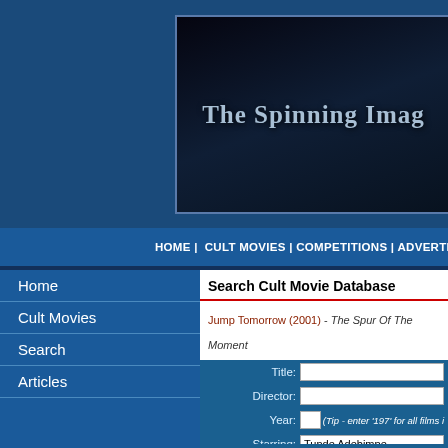The Spinning Image
HOME | CULT MOVIES | COMPETITIONS | ADVERTIS
Home
Cult Movies
Search
Articles
News Archive
Newsletters
Polls
Competitions
Links
Advertise
Search Cult Movie Database
Jump Tomorrow (2001) - The Spur Of The Moment
Marriage Story (2019) - Wasting Their Time
Nasty Baby (2015) - Hipster Horrors
She Dies Tomorrow (2020) - Just Can't Go On
Page 1 of 1
Title:
Director:
Year: (Tip - enter '197' for all films in...)
Starring: Tunde Adebimpe
Co-Starring:
Review containing:
Genre1: